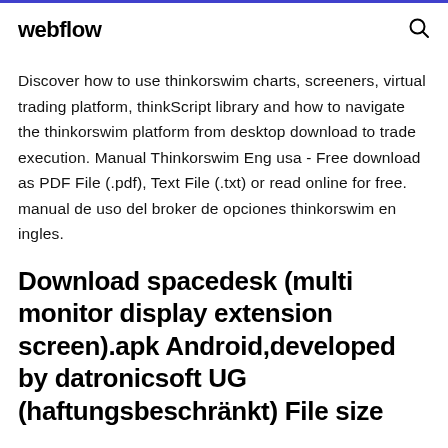webflow
Discover how to use thinkorswim charts, screeners, virtual trading platform, thinkScript library and how to navigate the thinkorswim platform from desktop download to trade execution. Manual Thinkorswim Eng usa - Free download as PDF File (.pdf), Text File (.txt) or read online for free. manual de uso del broker de opciones thinkorswim en ingles.
Download spacedesk (multi monitor display extension screen).apk Android,developed by datronicsoft UG (haftungsbeschränkt) File size